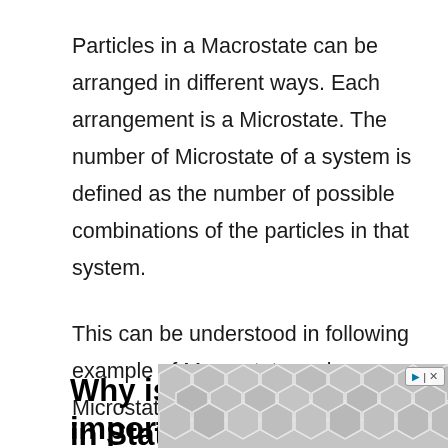Particles in a Macrostate can be arranged in different ways. Each arrangement is a Microstate. The number of Microstate of a system is defined as the number of possible combinations of the particles in that system.
This can be understood in following example of Macrostate and Microstate in Physics.
Why is Microstate important in Statistical Mechanics?
[Figure (other): Advertisement banner with hexagonal tile pattern and close button]